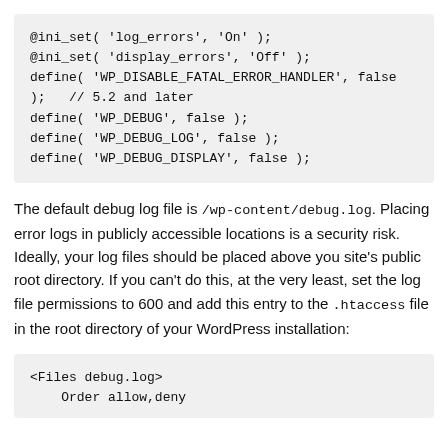[Figure (screenshot): Code block showing PHP ini_set and define statements for WordPress debug configuration]
The default debug log file is /wp-content/debug.log. Placing error logs in publicly accessible locations is a security risk. Ideally, your log files should be placed above you site's public root directory. If you can't do this, at the very least, set the log file permissions to 600 and add this entry to the .htaccess file in the root directory of your WordPress installation:
[Figure (screenshot): Code block showing .htaccess file entry: <Files debug.log> Order allow,deny]